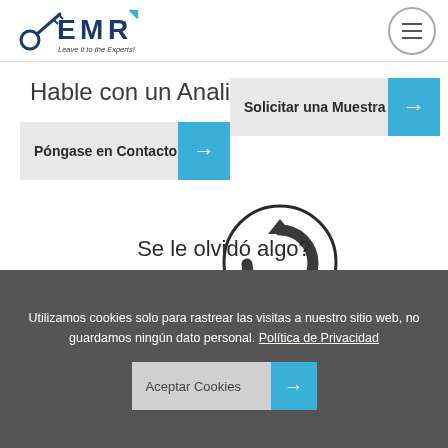[Figure (logo): EMR logo with tagline 'Leave it to the Experts!']
[Figure (other): Hamburger menu button in a circle]
Hable con un Analista
[Figure (other): Button: Póngase en Contacto with blue arrow]
[Figure (other): Button: Solicitar una Muestra with blue arrow]
[Figure (other): Circular reload/refresh icon]
Se le olvidó algo?
Utilizamos cookies solo para rastrear las visitas a nuestro sitio web, no guardamos ningún dato personal. Política de Privacidad
[Figure (other): Button: Aceptar Cookies with blue arrow]